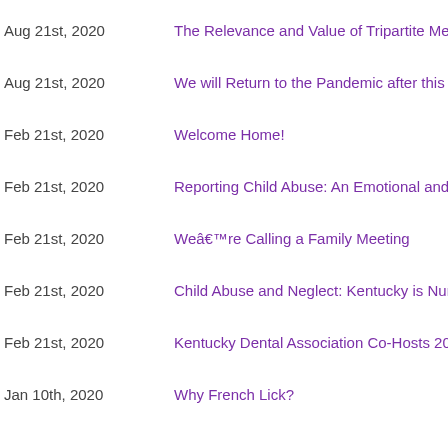Aug 21st, 2020 — The Relevance and Value of Tripartite Mem…
Aug 21st, 2020 — We will Return to the Pandemic after this In…
Feb 21st, 2020 — Welcome Home!
Feb 21st, 2020 — Reporting Child Abuse: An Emotional and E…
Feb 21st, 2020 — Weâre Calling a Family Meeting
Feb 21st, 2020 — Child Abuse and Neglect: Kentucky is Numb…
Feb 21st, 2020 — Kentucky Dental Association Co-Hosts 2020…
Jan 10th, 2020 — Why French Lick?